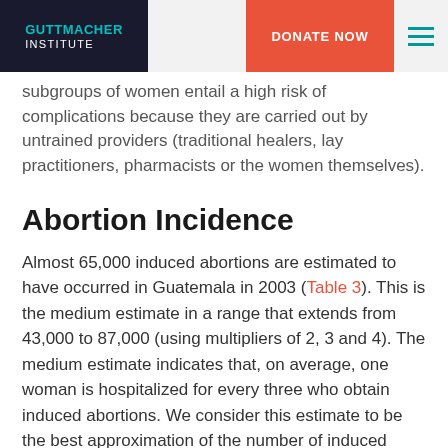GUTTMACHER INSTITUTE | DONATE NOW
subgroups of women entail a high risk of complications because they are carried out by untrained providers (traditional healers, lay practitioners, pharmacists or the women themselves).
Abortion Incidence
Almost 65,000 induced abortions are estimated to have occurred in Guatemala in 2003 (Table 3). This is the medium estimate in a range that extends from 43,000 to 87,000 (using multipliers of 2, 3 and 4). The medium estimate indicates that, on average, one woman is hospitalized for every three who obtain induced abortions. We consider this estimate to be the best approximation of the number of induced abortions.
The estimated national abortion rate in 2003 is 24 induced abortions per 1,000 women aged 15–49 (based